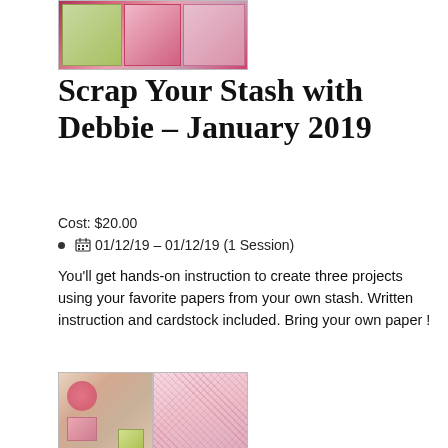[Figure (photo): Scrapbooking project photo collage showing pink and floral craft cards at the top]
Scrap Your Stash with Debbie – January 2019
Cost: $20.00
📅 01/12/19 – 01/12/19 (1 Session)
You'll get hands-on instruction to create three projects using your favorite papers from your own stash. Written instruction and cardstock included. Bring your own paper !
[Figure (photo): Four-panel grid of scrapbooking paper samples featuring pink floral and decorative designs]
Plan a lot with Pamelot – January 2019